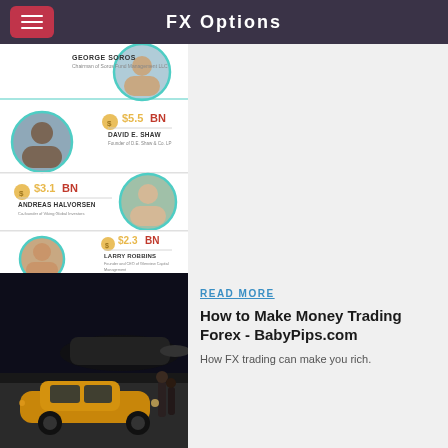FX Options
[Figure (infographic): Infographic showing top forex traders and their earnings: George Soros (Chairman of Soros Fund Management LLC), David E. Shaw $5.5BN (Founder of D.E. Shaw & Co. LP), Andreas Halvorsen $3.1BN (Co-founder of Viking Global Investors), Larry Robbins $2.3BN (Founder and CEO of Glenview Capital Management), Bill Ackman $1.3BN (Founder and CEO of Pershing Square Capital Management, LP). Footer: FOR MORE INFOGRAPHICS blog.americacapital.com]
[Figure (photo): A photo showing people standing next to a gold sports car in front of a private jet at night]
READ MORE
How to Make Money Trading Forex - BabyPips.com
How FX trading can make you rich.